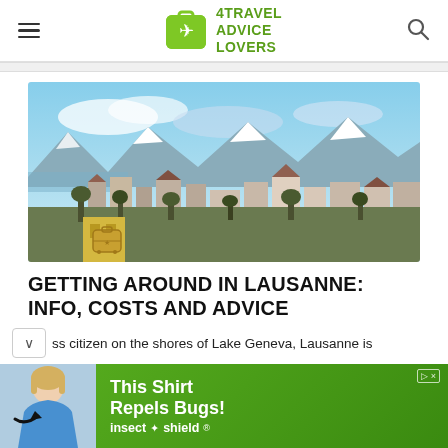4TRAVEL ADVICE LOVERS
[Figure (photo): Panoramic view of Lausanne city with snow-capped mountains and Lake Geneva in the background, residential buildings in foreground]
GETTING AROUND IN LAUSANNE: INFO, COSTS AND ADVICE
ss citizen on the shores of Lake Geneva, Lausanne is
[Figure (infographic): Advertisement banner for Insect Shield showing a woman in blue shirt with arrow pointing to shirt, text: This Shirt Repels Bugs! insect shield]